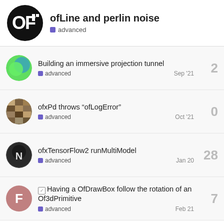ofLine and perlin noise
advanced
Building an immersive projection tunnel
advanced
Sep '21
2
ofxPd throws “ofLogError”
advanced
Oct '21
0
ofxTensorFlow2 runMultiModel
advanced
Jan 20
28
☑ Having a OfDrawBox follow the rotation of an Of3dPrimitive
advanced
Feb 21
7
Want to read more? Browse other topics in
advanced or view latest topics.